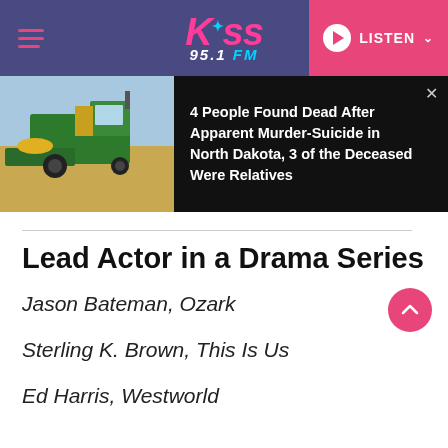Kiss 95.1 FM — LISTEN
[Figure (screenshot): News banner showing a green combine harvester in a field with headline: 4 People Found Dead After Apparent Murder-Suicide in North Dakota, 3 of the Deceased Were Relatives]
Lead Actor in a Drama Series
Jason Bateman, Ozark
Sterling K. Brown, This Is Us
Ed Harris, Westworld